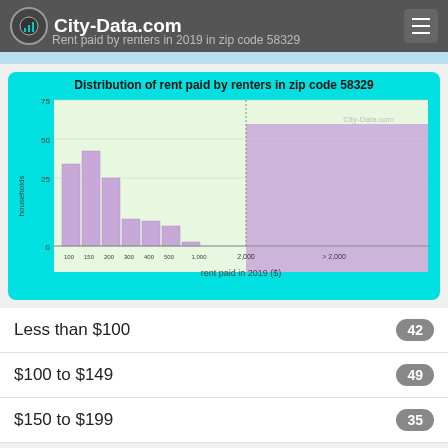City-Data.com — Rent paid by renters in 2019 in zip code 58329
[Figure (histogram): Distribution of rent paid by renters in zip code 58329]
Less than $100
$100 to $149
$150 to $199